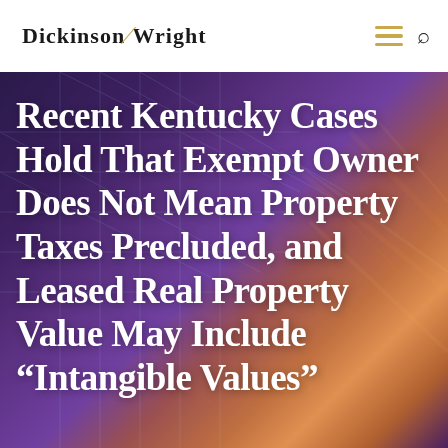Dickinson Wright
Recent Kentucky Cases Hold That Exempt Owner Does Not Mean Property Taxes Precluded, and Leased Real Property Value May Include “Intangible Values”